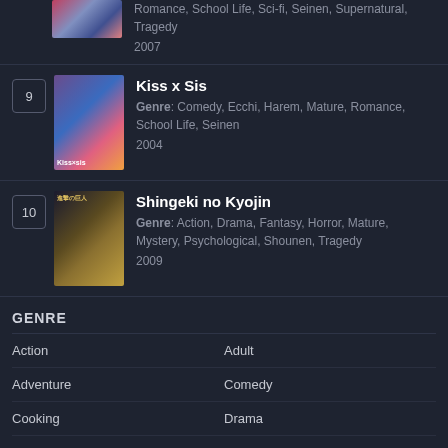Genre: Romance, School Life, Sci-fi, Seinen, Supernatural, Tragedy
2007
9 Kiss x Sis
Genre: Comedy, Ecchi, Harem, Mature, Romance, School Life, Seinen
2004
10 Shingeki no Kyojin
Genre: Action, Drama, Fantasy, Horror, Mature, Mystery, Psychological, Shounen, Tragedy
2009
GENRE
Action
Adult
Adventure
Comedy
Cooking
Drama
Ecchi
Fantasy
Gender Bender
Harem
Historical
Horror